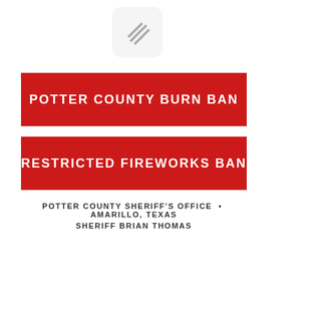[Figure (logo): App icon with diagonal lines on a light gray rounded square background]
POTTER COUNTY BURN BAN
RESTRICTED FIREWORKS BAN
POTTER COUNTY SHERIFF'S OFFICE  •  AMARILLO, TEXAS
SHERIFF BRIAN THOMAS